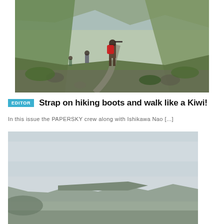[Figure (photo): Hikers on a rocky mountain trail with green hillsides and mountains in the background. A person in the foreground carries a large red backpack.]
EDITOR  Strap on hiking boots and walk like a Kiwi!
In this issue the PAPERSKY crew along with Ishikawa Nao [...]
[Figure (photo): Mountain landscape with rolling green hills, a flat plateau, and overcast sky.]